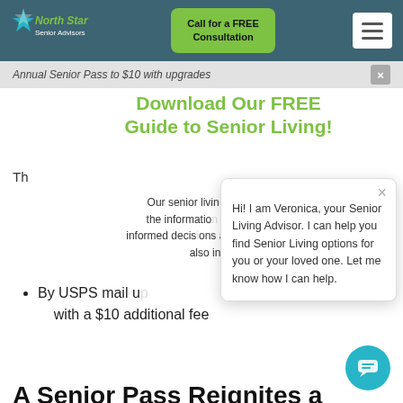[Figure (logo): North Star Senior Advisors logo with blue/teal star and green stylized text]
Call for a FREE Consultation
[Figure (other): Hamburger menu icon (three horizontal lines) on white background]
Annual Senior Pass to $10 with upgrades
Download Our FREE Guide to Senior Living!
Th
Our senior living guide includes the information needed to make informed decisions about senior living. It also includes
By USPS mail up with a $10 additional fee
A Senior Pass Reignites a
Hi! I am Veronica, your Senior Living Advisor. I can help you find Senior Living options for you or your loved one. Let me know how I can help.